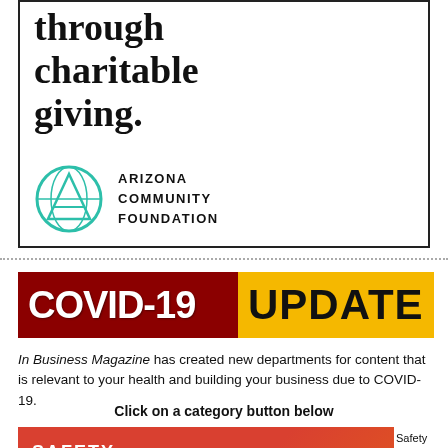through charitable giving.
[Figure (logo): Arizona Community Foundation logo — teal circle with a stylized 'A' triangle inside, next to bold text reading ARIZONA COMMUNITY FOUNDATION]
[Figure (infographic): COVID-19 UPDATE banner — left half dark red background with white bold text 'COVID-19', right half yellow/gold background with black bold text 'UPDATE']
In Business Magazine has created new departments for content that is relevant to your health and building your business due to COVID-19.
Click on a category button below
SAFETY